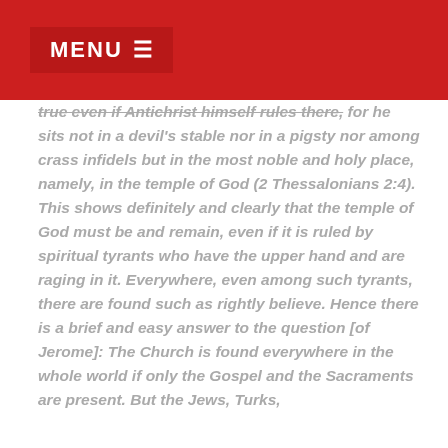MENU ☰
true even if Antichrist himself rules there, for he sits not in a devil's stable nor in a pigsty nor among crass infidels but in the most noble and holy place, namely, in the temple of God (2 Thessalonians 2:4). This shows definitely and clearly that the temple of God must be and remain, even if it is ruled by spiritual tyrants who have the upper hand and are raging in it. Everywhere, even among such tyrants, there are found such as rightly believe. Hence there is a brief and easy answer to the question [of Jerome]: The Church is found everywhere in the whole world if only the Gospel and the Sacraments are present. But the Jews, Turks,